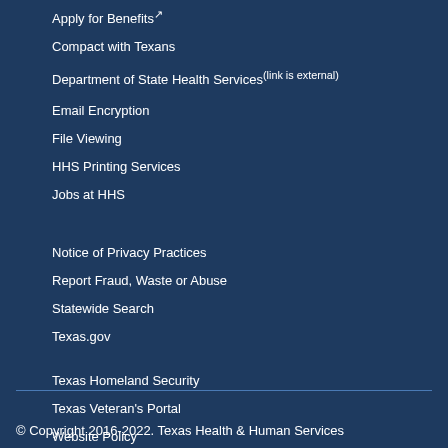Apply for Benefits↗
Compact with Texans
Department of State Health Services(link is external)
Email Encryption
File Viewing
HHS Printing Services
Jobs at HHS
Notice of Privacy Practices
Report Fraud, Waste or Abuse
Statewide Search
Texas.gov
Texas Homeland Security
Texas Veteran's Portal
Website Policy
Website Help
© Copyright 2016-2022. Texas Health & Human Services